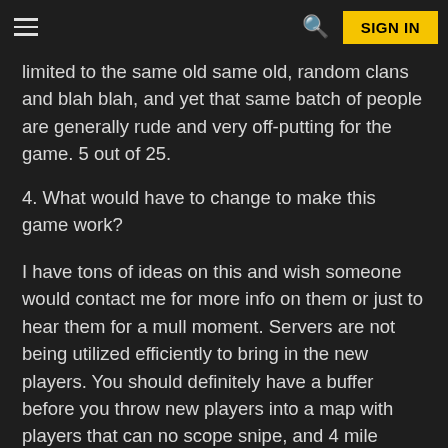≡  🔍  SIGN IN
limited to the same old same old, random clans and blah blah, and yet that same batch of people are generally rude and very off-putting for the game. 5 out of 25.
4. What would have to change to make this game work?
I have tons of ideas on this and wish someone would contact me for more info on them or just to hear them for a mull moment. Servers are not being utilized efficiently to bring in the new players. You should definitely have a buffer before you throw new players into a map with players that can no scope snipe, and 4 mile range you with a mortar, not to mention the players who log on SO MUCH are able to MA you with little effort. 10 out of 25.